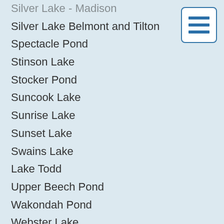Silver Lake - Madison
Silver Lake Belmont and Tilton
Spectacle Pond
Stinson Lake
Stocker Pond
Suncook Lake
Sunrise Lake
Sunset Lake
Swains Lake
Lake Todd
Upper Beech Pond
Wakondah Pond
Webster Lake
White Oak Pond
Wild Goose Pond
Lake Wicwas
Winona Lake
Lake Winnepocket
NH Trout Ponds Open Year Round
[Figure (other): Hamburger menu icon with three horizontal blue lines inside a white rounded rectangle with blue border]